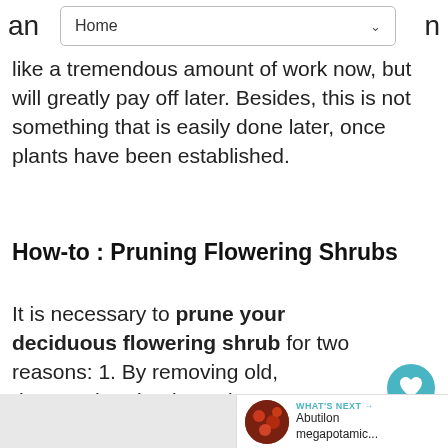an Home n
like a tremendous amount of work now, but will greatly pay off later. Besides, this is not something that is easily done later, once plants have been established.
How-to : Pruning Flowering Shrubs
It is necessary to prune your deciduous flowering shrub for two reasons: 1. By removing old, damaged or dead wood, you increase air flow, yielding in less disease. 2. You rejuvenate new growth which increases flower production.
[Figure (screenshot): WHAT'S NEXT arrow with Abutilon megapotamic... thumbnail and teal heart/share floating buttons]
[Figure (photo): Gray/white partial bottom image area]